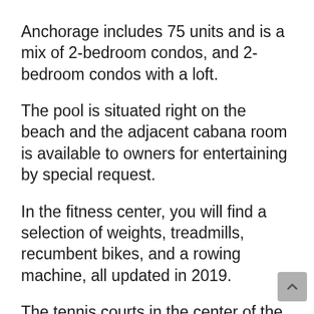Anchorage includes 75 units and is a mix of 2-bedroom condos, and 2-bedroom condos with a loft.
The pool is situated right on the beach and the adjacent cabana room is available to owners for entertaining by special request.
In the fitness center, you will find a selection of weights, treadmills, recumbent bikes, and a rowing machine, all updated in 2019.
The tennis courts in the center of the property are open to all owners. If you wish to play at night, please let our property manager know so he can